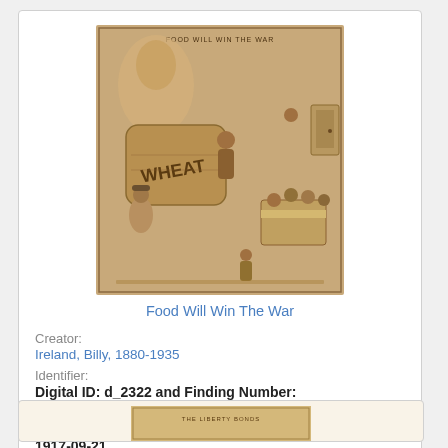[Figure (illustration): A vintage editorial cartoon titled 'Food Will Win The War' showing a large wheat sack labeled 'WHEAT' with figures around it, some people eating at a table on the right.]
Food Will Win The War
Creator:
Ireland, Billy, 1880-1935
Identifier:
Digital ID: d_2322 and Finding Number: CGA.MAC.P105.020
Date Created:
1917-09-21
[Figure (illustration): Partial view of a second document card partially visible at the bottom of the page, showing a sepia-toned document/image.]